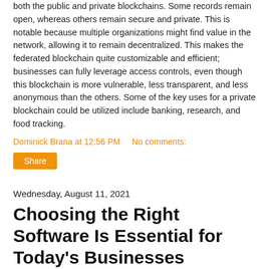both the public and private blockchains. Some records remain open, whereas others remain secure and private. This is notable because multiple organizations might find value in the network, allowing it to remain decentralized. This makes the federated blockchain quite customizable and efficient; businesses can fully leverage access controls, even though this blockchain is more vulnerable, less transparent, and less anonymous than the others. Some of the key uses for a private blockchain could be utilized include banking, research, and food tracking.
Dominick Brana at 12:56 PM   No comments:
Share
Wednesday, August 11, 2021
Choosing the Right Software Is Essential for Today's Businesses
Most businesses rely on specific software, and a lot of it. It's used to manage, protect, and facilitate your business. Today's software is more flexible than ever before, and while control over your business' IT systems is always better, the ability for a business to get the tools it needs may take you in a different direction. Let's take a look at some considerations you should make when you are looking to get software for your business.